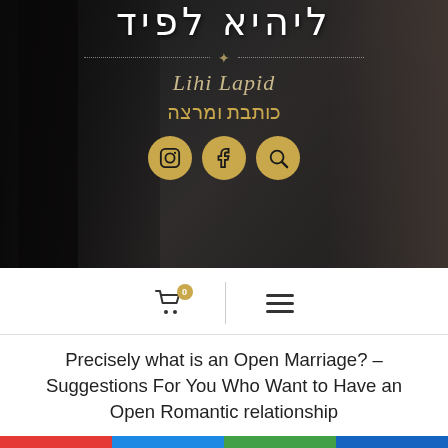[Figure (screenshot): Website header/hero section with dark background, woman portrait on right, Hebrew title 'ליהיא לפיד', decorative divider with feather icon, cursive English 'Lihi Lapid', Hebrew subtitle 'כותבת ומרצה', and three gold social media icon circles (Instagram, Facebook, Search)]
[Figure (screenshot): Navigation bar with shopping cart icon with badge '0', vertical divider, and hamburger menu icon]
Precisely what is an Open Marriage? – Suggestions For You Who Want to Have an Open Romantic relationship
[Figure (infographic): Bottom color strip with four colored segments: red, blue, green, dark blue]